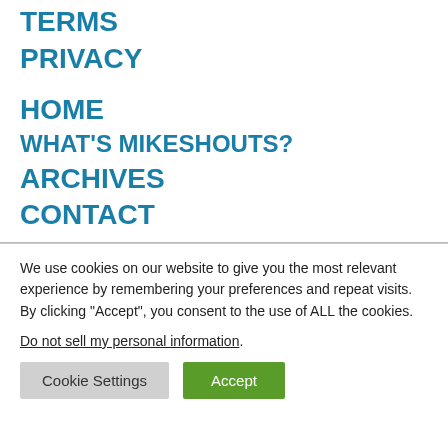TERMS
PRIVACY
HOME
WHAT'S MIKESHOUTS?
ARCHIVES
CONTACT
We use cookies on our website to give you the most relevant experience by remembering your preferences and repeat visits. By clicking “Accept”, you consent to the use of ALL the cookies. Do not sell my personal information.
Cookie Settings | Accept